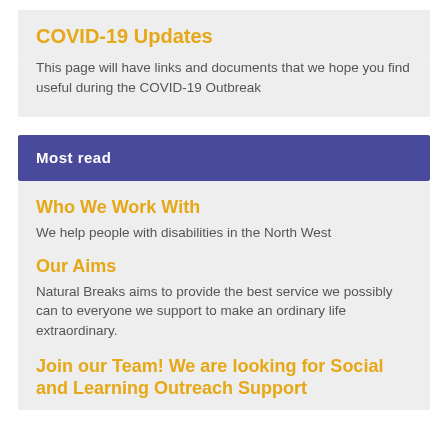COVID-19 Updates
This page will have links and documents that we hope you find useful during the COVID-19 Outbreak
Most read
Who We Work With
We help people with disabilities in the North West
Our Aims
Natural Breaks aims to provide the best service we possibly can to everyone we support to make an ordinary life extraordinary.
Join our Team! We are looking for Social and Learning Outreach Support